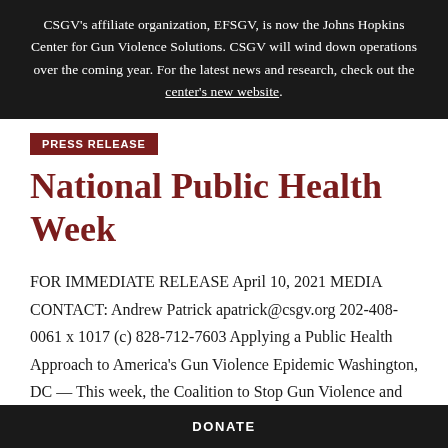CSGV's affiliate organization, EFSGV, is now the Johns Hopkins Center for Gun Violence Solutions. CSGV will wind down operations over the coming year. For the latest news and research, check out the center's new website.
PRESS RELEASE
National Public Health Week
FOR IMMEDIATE RELEASE April 10, 2021 MEDIA CONTACT: Andrew Patrick apatrick@csgv.org 202-408-0061 x 1017 (c) 828-712-7603 Applying a Public Health Approach to America's Gun Violence Epidemic Washington, DC — This week, the Coalition to Stop Gun Violence and
DONATE